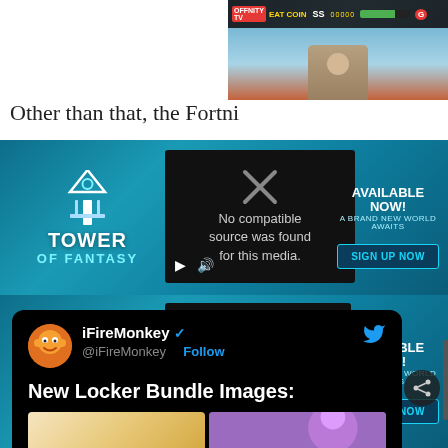[Figure (screenshot): Gaming HUD screenshot showing health bar, coin counter, SS indicator, and score]
Other than that, the Fortni
[Figure (screenshot): Tower of Fantasy ad banner with video player showing 'No compatible source was found for this media.' and AVAILABLE NOW! SIGN UP NOW button]
[Figure (screenshot): Twitter/X post by iFireMonkey (@iFireMonkey) with Follow button showing 'New Locker Bundle Images:' with two preview images]
[Figure (screenshot): Tower of Fantasy ad banner (bottom) with video player showing 'No compatible source was found for this media.' and AVAILABLE NOW! SIGN UP NOW button]